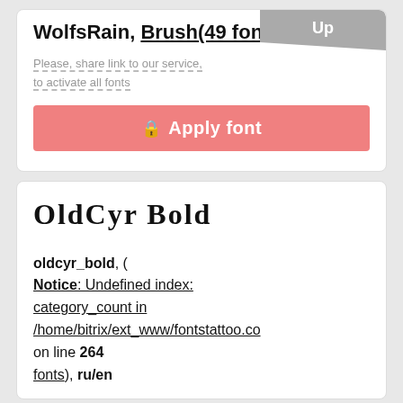WolfsRain, Brush(49 fonts), en
Please, share link to our service, to activate all fonts
Apply font
OldCyr Bold
oldcyr_bold, ( Notice: Undefined index: category_count in /home/bitrix/ext_www/fontstattoo.co on line 264 fonts), ru/en